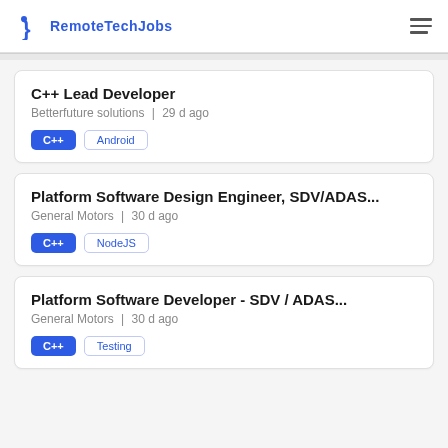RemoteTechJobs
C++ Lead Developer
Betterfuture solutions | 29 d ago
C++ | Android
Platform Software Design Engineer, SDV/ADAS...
General Motors | 30 d ago
C++ | NodeJS
Platform Software Developer - SDV / ADAS...
General Motors | 30 d ago
C++ | Testing